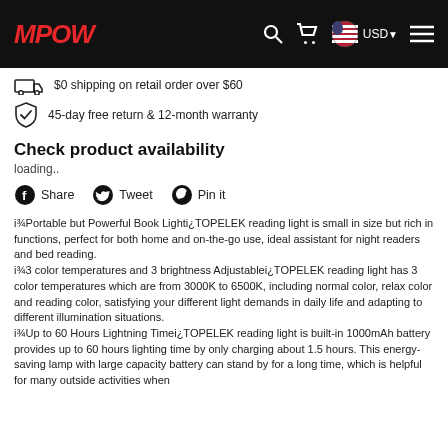MPOW — USD — navigation
$0 shipping on retail order over $60
45-day free return & 12-month warranty
Check product availability
loading..
Share  Tweet  Pin it
i¾Portable but Powerful Book Lighti¿TOPELEK reading light is small in size but rich in functions, perfect for both home and on-the-go use, ideal assistant for night readers and bed reading. i¾3 color temperatures and 3 brightness Adjustablei¿TOPELEK reading light has 3 color temperatures which are from 3000K to 6500K, including normal color, relax color and reading color, satisfying your different light demands in daily life and adapting to different illumination situations. i¾Up to 60 Hours Lightning Timei¿TOPELEK reading light is built-in 1000mAh battery provides up to 60 hours lighting time by only charging about 1.5 hours. This energy-saving lamp with large capacity battery can stand by for a long time, which is helpful for many outside activities when